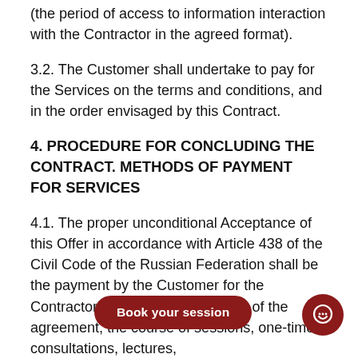(the period of access to information interaction with the Contractor in the agreed format).
3.2. The Customer shall undertake to pay for the Services on the terms and conditions, and in the order envisaged by this Contract.
4. PROCEDURE FOR CONCLUDING THE CONTRACT. METHODS OF PAYMENT FOR SERVICES
4.1. The proper unconditional Acceptance of this Offer in accordance with Article 438 of the Civil Code of the Russian Federation shall be the payment by the Customer for the Contractor's Services on the basis of the agreement, the course of sessions, one-time consultations, lectures,